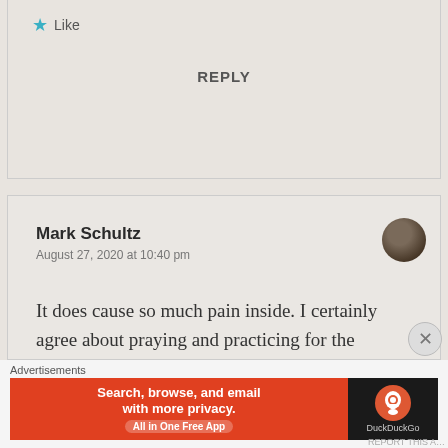★ Like
REPLY
Mark Schultz
August 27, 2020 at 10:40 pm
It does cause so much pain inside. I certainly agree about praying and practicing for the healing.
Advertisements
[Figure (screenshot): DuckDuckGo advertisement banner: orange left side reading 'Search, browse, and email with more privacy. All in One Free App' and dark right side with DuckDuckGo logo]